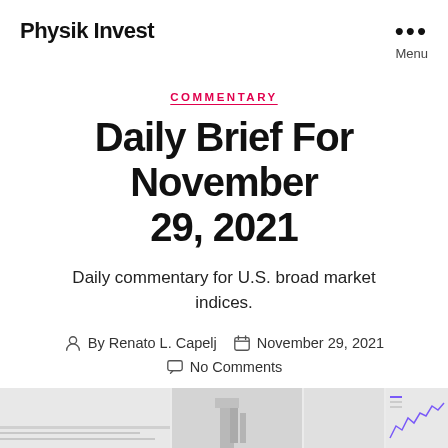Physik Invest
COMMENTARY
Daily Brief For November 29, 2021
Daily commentary for U.S. broad market indices.
By Renato L. Capelj  November 29, 2021  No Comments
[Figure (photo): Bottom strip showing partial chart images and data visualizations, mostly grayscale thumbnails with a small purple line chart on the right edge.]